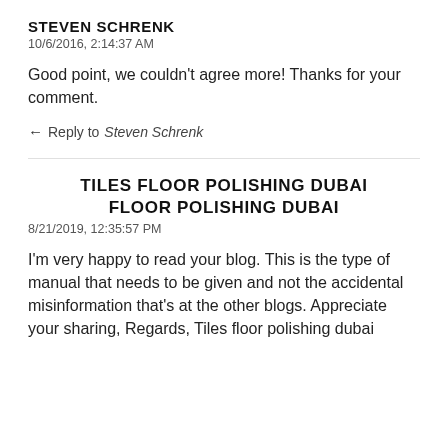STEVEN SCHRENK
10/6/2016, 2:14:37 AM
Good point, we couldn't agree more! Thanks for your comment.
← Reply to Steven Schrenk
TILES FLOOR POLISHING DUBAI FLOOR POLISHING DUBAI
8/21/2019, 12:35:57 PM
I'm very happy to read your blog. This is the type of manual that needs to be given and not the accidental misinformation that's at the other blogs. Appreciate your sharing, Regards, Tiles floor polishing dubai